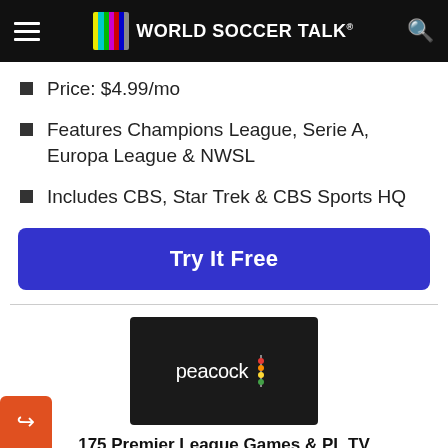World Soccer Talk
Price: $4.99/mo
Features Champions League, Serie A, Europa League & NWSL
Includes CBS, Star Trek & CBS Sports HQ
Try It Free
[Figure (logo): Peacock streaming service logo — white text 'peacock' with colorful feather icon on dark background]
175 Premier League Games & PL TV